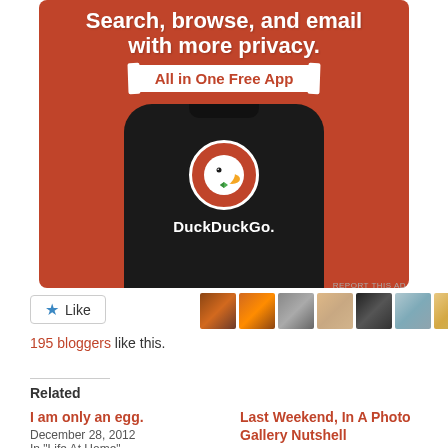[Figure (illustration): DuckDuckGo advertisement banner with orange background showing a smartphone with DuckDuckGo logo. Text reads 'Search, browse, and email with more privacy. All in One Free App']
[Figure (other): Row of blogger avatar thumbnails with a Like button]
195 bloggers like this.
Related
I am only an egg.
December 28, 2012
In "Life At Home"
Last Weekend, In A Photo Gallery Nutshell
March 20, 2013
In "The U.S."